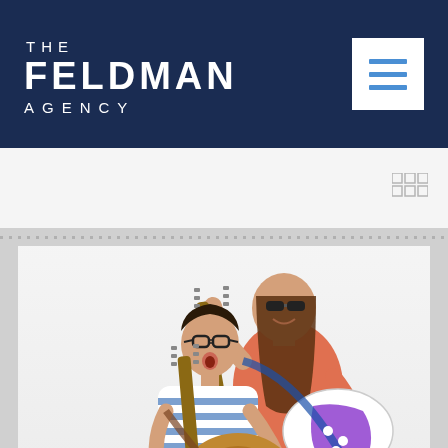THE FELDMAN AGENCY
[Figure (photo): Two young musicians with guitars on a white background. A girl wearing sunglasses and an orange top holds a purple and white electric guitar. A boy with glasses wearing a blue and white striped shirt plays an acoustic guitar.]
@Rolling Stone